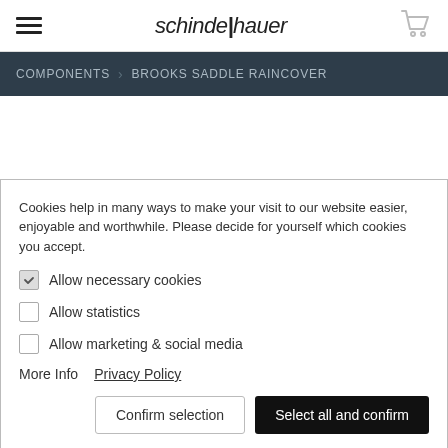[Figure (logo): schindelhauer brand logo in italic text with vertical bar divider between 'schinde' and 'hauer']
COMPONENTS  BROOKS SADDLE RAINCOVER
Cookies help in many ways to make your visit to our website easier, enjoyable and worthwhile. Please decide for yourself which cookies you accept.
Allow necessary cookies
Allow statistics
Allow marketing & social media
More Info  Privacy Policy
Confirm selection   Select all and confirm